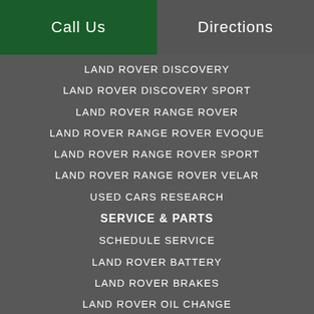Call Us   Directions
LAND ROVER DISCOVERY
LAND ROVER DISCOVERY SPORT
LAND ROVER RANGE ROVER
LAND ROVER RANGE ROVER EVOQUE
LAND ROVER RANGE ROVER SPORT
LAND ROVER RANGE ROVER VELAR
USED CARS RESEARCH
SERVICE & PARTS
SCHEDULE SERVICE
LAND ROVER BATTERY
LAND ROVER BRAKES
LAND ROVER OIL CHANGE
LAND ROVER PARTS
LAND ROVER SERVICE
LAND ROVER TIRES
Your web browser (iOS 11) is out of date. Update your browser for more security, speed and the best experience on this site.